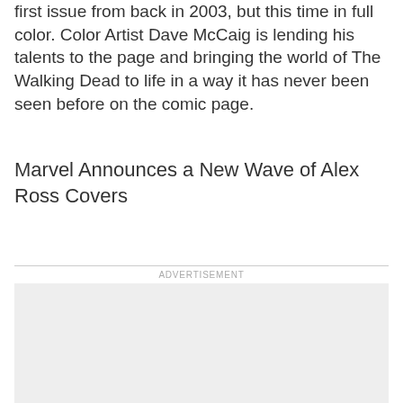first issue from back in 2003, but this time in full color. Color Artist Dave McCaig is lending his talents to the page and bringing the world of The Walking Dead to life in a way it has never been seen before on the comic page.
Marvel Announces a New Wave of Alex Ross Covers
[Figure (other): Advertisement placeholder box with light gray background]